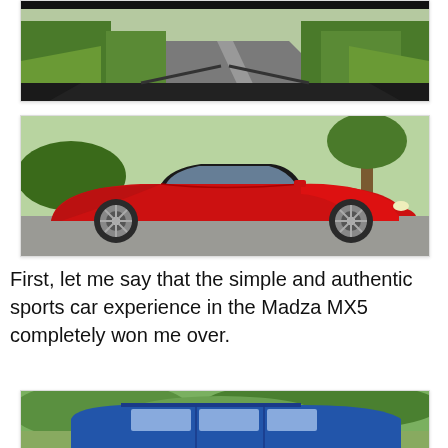[Figure (photo): View from inside a car looking out through the windshield at a rural road lined with green trees and grass]
[Figure (photo): Red Mazda MX5 convertible sports car with soft top down, parked in a parking lot with trees in background]
First, let me say that the simple and authentic sports car experience in the Madza MX5 completely won me over.
[Figure (photo): Blue station wagon / estate car parked on grass with green trees and bushes in background]